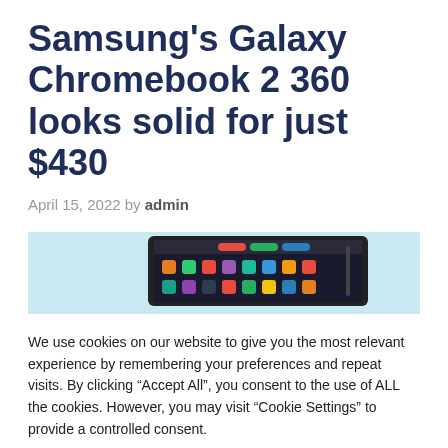Samsung’s Galaxy Chromebook 2 360 looks solid for just $430
April 15, 2022 by admin
[Figure (photo): Partial image of Samsung Galaxy Chromebook 2 360 tablet device showing screen with app icons, on a light blue background]
We use cookies on our website to give you the most relevant experience by remembering your preferences and repeat visits. By clicking “Accept All”, you consent to the use of ALL the cookies. However, you may visit "Cookie Settings" to provide a controlled consent.
Cookie Settings   Accept All